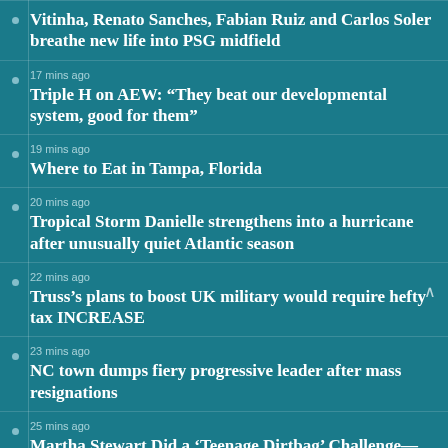Vitinha, Renato Sanches, Fabian Ruiz and Carlos Soler breathe new life into PSG midfield
17 mins ago
Triple H on AEW: “They beat our developmental system, good for them”
19 mins ago
Where to Eat in Tampa, Florida
20 mins ago
Tropical Storm Danielle strengthens into a hurricane after unusually quiet Atlantic season
22 mins ago
Truss’s plans to boost UK military would require hefty tax INCREASE
23 mins ago
NC town dumps fiery progressive leader after mass resignations
25 mins ago
Martha Stewart Did a ‘Teenage Dirtbag’ Challenge—With Dr. Dre Audio. Instagram…